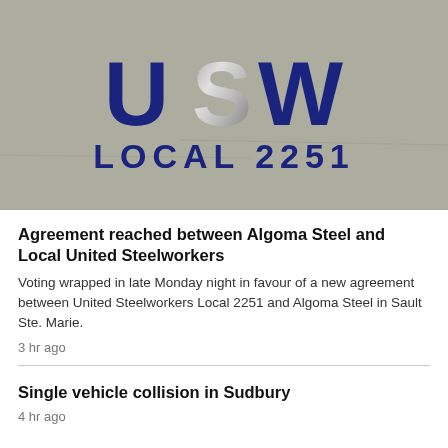[Figure (photo): Photo of a concrete wall with the USW Local 2251 logo/sign mounted on it. The letters 'USW' appear large in dark navy blue with the 'S' having a silver metallic finish, and 'LOCAL 2251' appears below in dark navy blue letters.]
Agreement reached between Algoma Steel and Local United Steelworkers
Voting wrapped in late Monday night in favour of a new agreement between United Steelworkers Local 2251 and Algoma Steel in Sault Ste. Marie.
3 hr ago
Single vehicle collision in Sudbury
4 hr ago